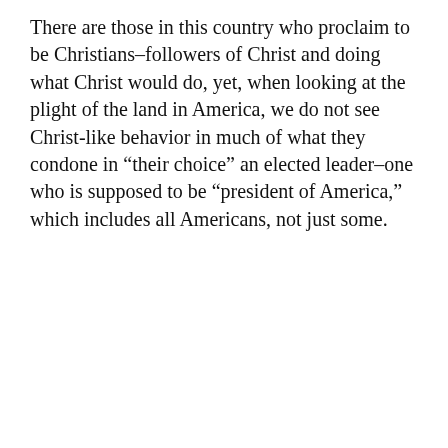There are those in this country who proclaim to be Christians–followers of Christ and doing what Christ would do, yet, when looking at the plight of the land in America, we do not see Christ-like behavior in much of what they condone in “their choice” an elected leader–one who is supposed to be “president of America,” which includes all Americans, not just some.
[Figure (screenshot): Partial screenshot of a promotional/app banner showing text 'new reads on the go.' on dark background, with a 'You might like' panel showing category pills (Family, Reading, Music) and a content item 'Around the World with Pam']
Privacy & Cookies: This site uses cookies. By continuing to use this website, you agree to their use.
To find out more, including how to control cookies, see here: Cookie Policy
Close and accept